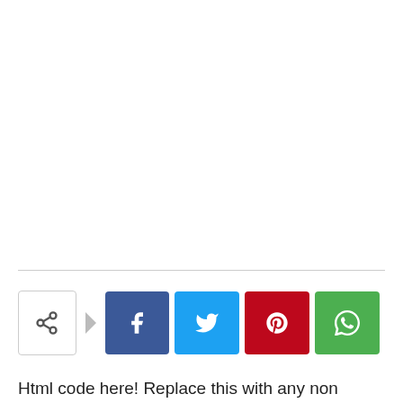[Figure (infographic): Social media share bar with a share toggle button (showing a share icon), an arrow, and four social media buttons: Facebook (blue, f icon), Twitter (cyan, bird icon), Pinterest (red, p icon), WhatsApp (green, phone icon)]
Html code here! Replace this with any non empty raw html code and thats it.